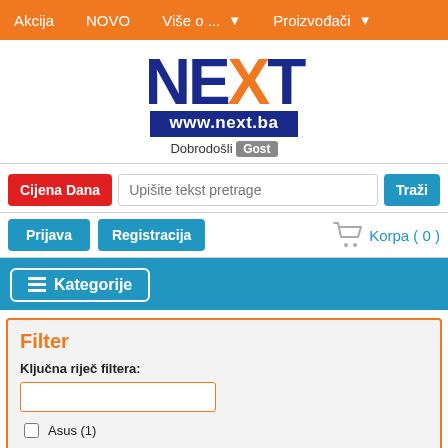Akcija  NOVO  Više o ...  Proizvođači
[Figure (logo): NEXT logo with stylized letters and www.next.ba URL banner]
Dobrodošli Gost
Cijena Dana  Upišite tekst pretrage  Traži
Prijava  Registracija  Korpa ( 0 )
Kategorije
Filter
Ključna riječ filtera:
Asus (1)